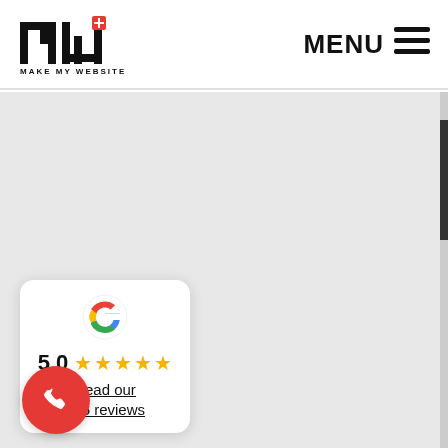[Figure (logo): Make My Website logo — stylized MMW letters in black and red with small red registration icon, text 'MAKE MY WEBSITE' below]
MENU ☰
[Figure (screenshot): Grey background hero/main section area of a website, largely empty]
[Figure (infographic): Google rating widget: Google G logo, rating 5.0 with five yellow stars, text 'Read our 225 reviews']
[Figure (other): Red circular phone/call button with white phone handset icon]